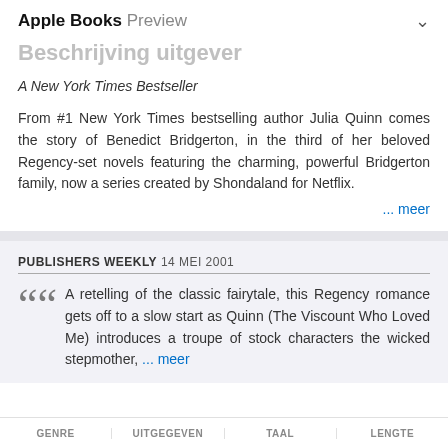Apple Books Preview
Beschrijving uitgever
A New York Times Bestseller
From #1 New York Times bestselling author Julia Quinn comes the story of Benedict Bridgerton, in the third of her beloved Regency-set novels featuring the charming, powerful Bridgerton family, now a series created by Shondaland for Netflix.
... meer
PUBLISHERS WEEKLY 14 MEI 2001
A retelling of the classic fairytale, this Regency romance gets off to a slow start as Quinn (The Viscount Who Loved Me) introduces a troupe of stock characters the wicked stepmother, ... meer
GENRE | UITGEGEVEN | TAAL | LENGTE